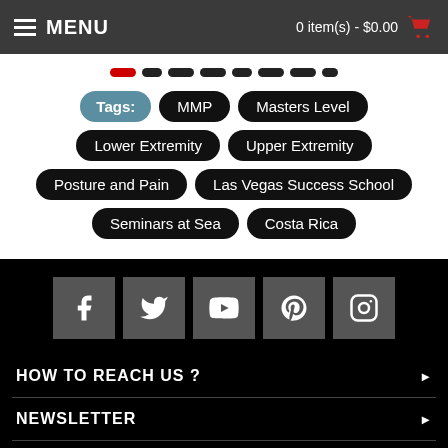MENU | 0 item(s) - $0.00
[Figure (other): Slider pagination dots with first dot in red (active) and remaining dots in dark grey]
Tags: MMP | Masters Level | Lower Extremity | Upper Extremity | Posture and Pain | Las Vegas Success School | Seminars at Sea | Costa Rica
[Figure (other): Social media icons: Facebook, Twitter, YouTube, Pinterest, Instagram in grey square buttons]
HOW TO REACH US ?
NEWSLETTER
[Figure (other): Email envelope icon (newsletter signup) and scroll-to-top arrow circle button]